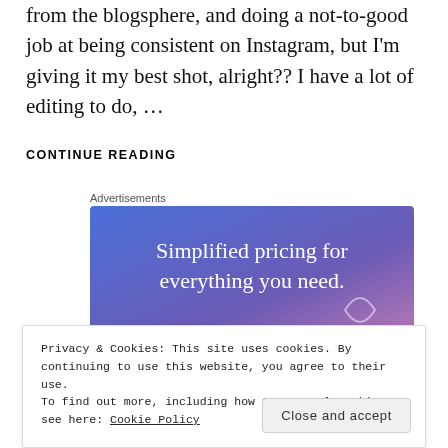from the blogphere, and doing a not-to-good job at being consistent on Instagram, but I'm giving it my best shot, alright?? I have a lot of editing to do, …
CONTINUE READING
Advertisements
[Figure (screenshot): Advertisement banner with gradient blue-purple background reading 'Simplified pricing for everything you need.']
Privacy & Cookies: This site uses cookies. By continuing to use this website, you agree to their use.
To find out more, including how to control cookies, see here: Cookie Policy
Close and accept